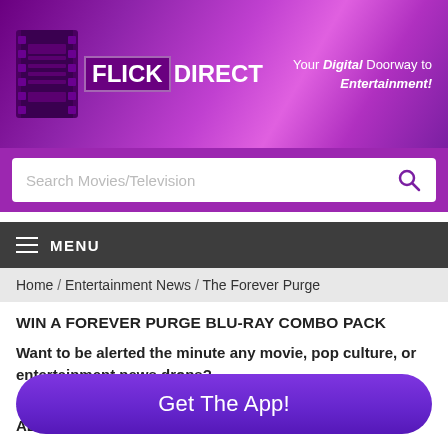FLICK DIRECT — Your Digital Doorway to Entertainment!
Search Movies/Television
MENU
Home / Entertainment News / The Forever Purge
WIN A FOREVER PURGE BLU-RAY COMBO PACK
Want to be alerted the minute any movie, pop culture, or entertainment news drops?
Subscribers will also be notified the minuted FREE ADVANCE SCREENING PASSES go live.
Get The App!